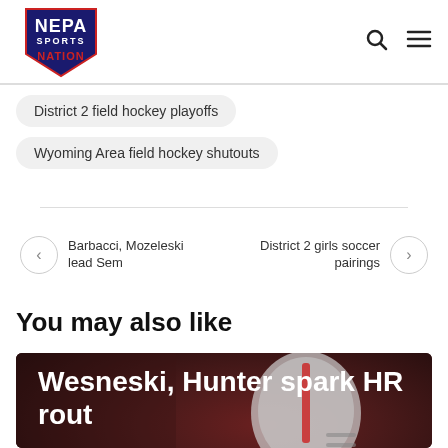NEPA Sports Nation
District 2 field hockey playoffs
Wyoming Area field hockey shutouts
Barbacci, Mozeleski lead Sem
District 2 girls soccer pairings
You may also like
[Figure (photo): Football player in red helmet and uniform - Wesneski, Hunter spark HR rout]
Wesneski, Hunter spark HR rout